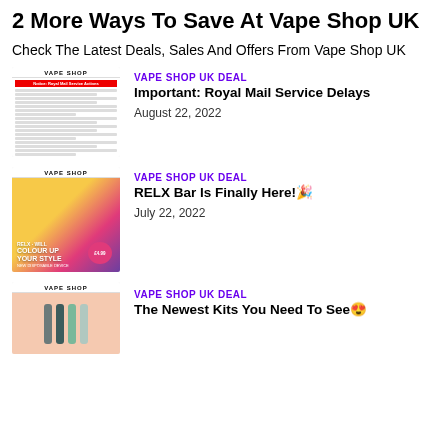2 More Ways To Save At Vape Shop UK
Check The Latest Deals, Sales And Offers From Vape Shop UK
[Figure (photo): Thumbnail image of a Vape Shop UK document/letter page with red text and body text lines]
VAPE SHOP UK DEAL
Important: Royal Mail Service Delays
August 22, 2022
[Figure (photo): Thumbnail image of Vape Shop UK RELX Bar colorful promotional ad showing disposable vapes with text COLOUR UP YOUR STYLE NEW DISPOSABLE DEVICE £4.99]
VAPE SHOP UK DEAL
RELX Bar Is Finally Here!🎉
July 22, 2022
[Figure (photo): Thumbnail image of Vape Shop UK kit devices on peach/salmon background]
VAPE SHOP UK DEAL
The Newest Kits You Need To See😍